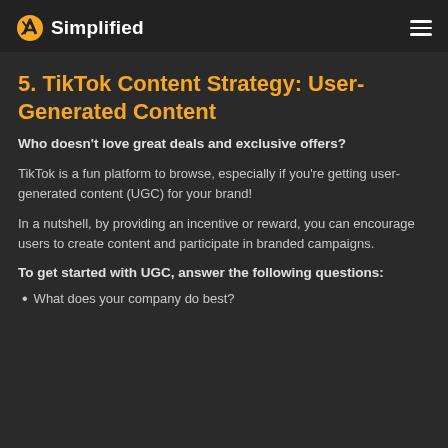Simplified
5. TikTok Content Strategy: User-Generated Content
Who doesn't love great deals and exclusive offers?
TikTok is a fun platform to browse, especially if you're getting user-generated content (UGC) for your brand!
In a nutshell, by providing an incentive or reward, you can encourage users to create content and participate in branded campaigns.
To get started with UGC, answer the following questions:
What does your company do best?